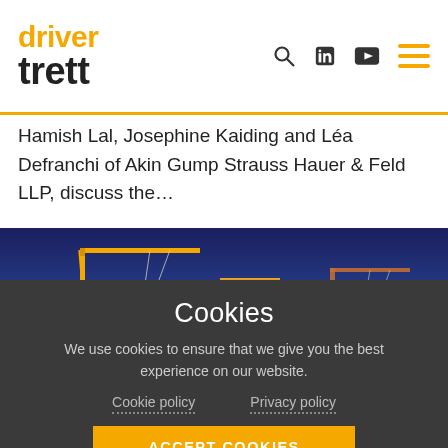driver trett
Hamish Lal, Josephine Kaiding and Léa Defranchi of Akin Gump Strauss Hauer & Feld LLP, discuss the...
[Figure (photo): Construction cranes against a twilight blue sky]
Cookies
We use cookies to ensure that we give you the best experience on our website.
Cookie policy    Privacy policy
ACCEPT COOKIES